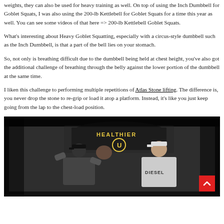weights, they can also be used for heavy training as well. On top of using the Inch Dumbbell for Goblet Squats, I was also using the 200-lb Kettlebell for Goblet Squats for a time this year as well. You can see some videos of that here => 200-lb Kettlebell Goblet Squats.
What's interesting about Heavy Goblet Squatting, especially with a circus-style dumbbell such as the Inch Dumbbell, is that a part of the bell lies on your stomach.
So, not only is breathing difficult due to the dumbbell being held at chest height, you've also got the additional challenge of breathing through the belly against the lower portion of the dumbbell at the same time.
I liken this challenge to performing multiple repetitions of Atlas Stone lifting. The difference is, you never drop the stone to re-grip or load it atop a platform. Instead, it's like you just keep going from the lap to the chest-load position.
[Figure (photo): Video still showing two men in a gym setting. A banner reading 'HEALTHIER U' is visible in the background. One man wears a black cap and the other wears a white cap and a shirt reading 'DIESEL'. They appear to be demonstrating a lifting exercise.]